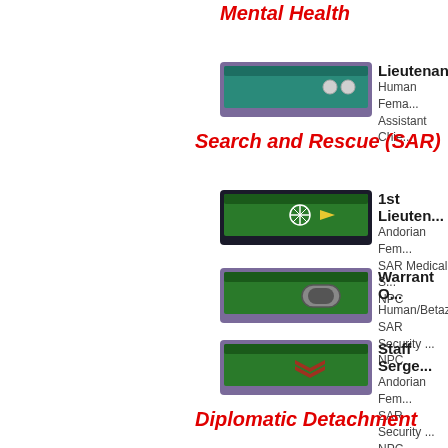Mental Health
[Figure (illustration): Rank badge with teal/green background and two silver dots on purple trim]
Lieutenant
Human Female
Assistant Chie...
Search and Rescue (SAR)
[Figure (illustration): Rank badge with green background, snowflake insignia and arrow on dark trim]
1st Lieuten...
Andorian Fem...
SAR Medical S...
NPC
[Figure (illustration): Rank badge with green background, oval device on purple trim]
Warrant O...
Human/Betaz...
SAR Security ...
NPC
[Figure (illustration): Rank badge with green background, chevron insignia on purple trim]
Staff Serge...
Andorian Fem...
SAR Security ...
NPC
Diplomatic Detachment
Civilian Affairs
Romy Jam...